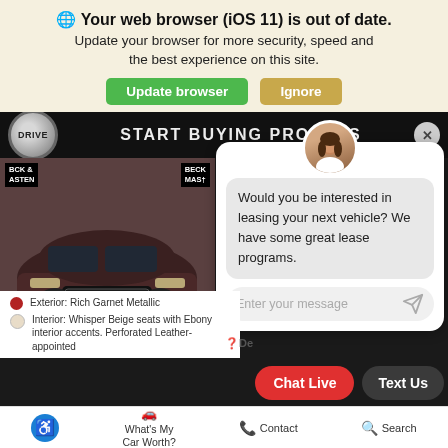🌐 Your web browser (iOS 11) is out of date. Update your browser for more security, speed and the best experience on this site.
Update browser | Ignore
[Figure (screenshot): Car dealership website screenshot showing a dark navigation bar with DRIVE logo and START BUYING PROCESS button, a photo of a dark brown SUV with Beck & Masten dealer badges, and a chat popup with female avatar asking about leasing]
Exterior: Rich Garnet Metallic
Interior: Whisper Beige seats with Ebony interior accents. Perforated Leather-appointed
Would you be interested in leasing your next vehicle? We have some great lease programs.
Enter your message
Chat Live
Text Us
What's My Car Worth?
Contact
Search